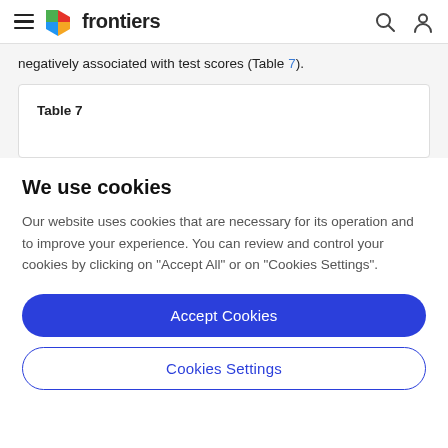frontiers
negatively associated with test scores (Table 7).
| Table 7 |
| --- |
We use cookies
Our website uses cookies that are necessary for its operation and to improve your experience. You can review and control your cookies by clicking on "Accept All" or on "Cookies Settings".
Accept Cookies
Cookies Settings